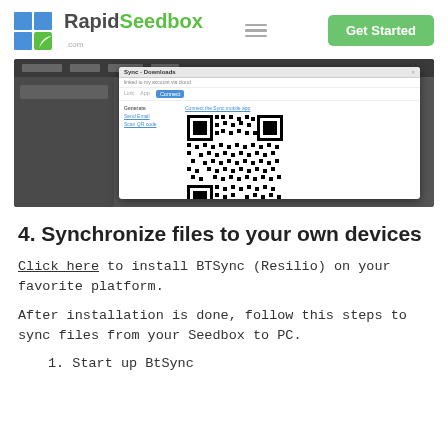RapidSeedbox.com — Get Started
[Figure (screenshot): Screenshot of BTSync/Resilio Sync application showing a dialog box with a QR code for connecting the Sync mobile app, on a dark grey background.]
4. Synchronize files to your own devices
Click here to install BTSync (Resilio) on your favorite platform.
After installation is done, follow this steps to sync files from your Seedbox to PC.
1. Start up BtSync